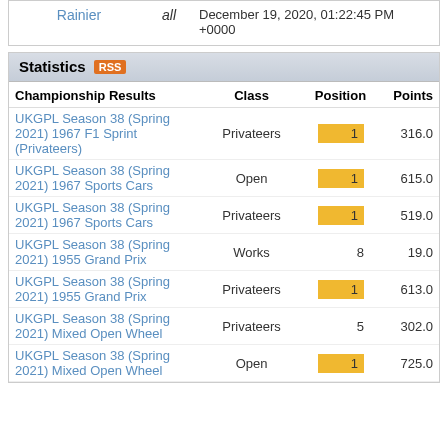|  |  |  |
| --- | --- | --- |
| Rainier | all | December 19, 2020, 01:22:45 PM +0000 |
Statistics RSS
| Championship Results | Class | Position | Points |
| --- | --- | --- | --- |
| UKGPL Season 38 (Spring 2021) 1967 F1 Sprint (Privateers) | Privateers | 1 | 316.0 |
| UKGPL Season 38 (Spring 2021) 1967 Sports Cars | Open | 1 | 615.0 |
| UKGPL Season 38 (Spring 2021) 1967 Sports Cars | Privateers | 1 | 519.0 |
| UKGPL Season 38 (Spring 2021) 1955 Grand Prix | Works | 8 | 19.0 |
| UKGPL Season 38 (Spring 2021) 1955 Grand Prix | Privateers | 1 | 613.0 |
| UKGPL Season 38 (Spring 2021) Mixed Open Wheel | Privateers | 5 | 302.0 |
| UKGPL Season 38 (Spring 2021) Mixed Open Wheel | Open | 1 | 725.0 |